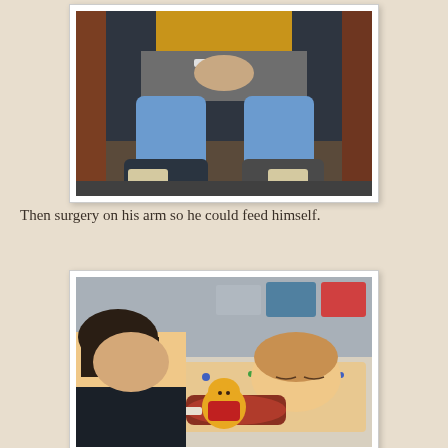[Figure (photo): Child sitting in a chair with both legs in blue casts and medical orthopedic boots/sandals, wearing a yellow top]
Then surgery on his arm so he could feed himself.
[Figure (photo): Adult leaning over a child lying in a hospital bed; child has arm in a sling/cast and eyes closed, Winnie the Pooh stuffed animal visible, hospital equipment in background]